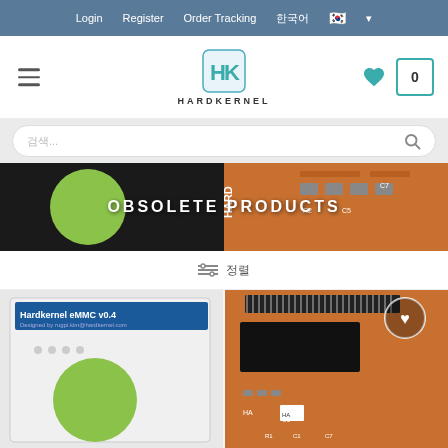Login  Register  Order Tracking  한국어 🇰🇷
[Figure (logo): Hardkernel HK logo with hamburger menu, heart icon, and cart showing 0]
[Figure (screenshot): Search bar with Korean placeholder text and search icon]
[Figure (photo): Hero banner with circuit board background and green circle LED]
OBSOLETE PRODUCTS
필터  정렬
[Figure (photo): Hardkernel eMMC v0.4 module product card - white PCB with green circle]
[Figure (photo): Hardkernel orange PCB eMMC module product card with heart/wishlist icon]